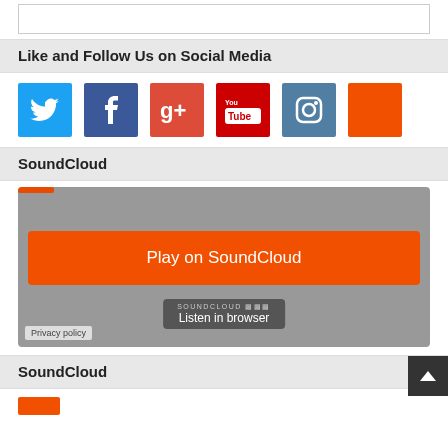Like and Follow Us on Social Media
[Figure (other): Row of six social media icon buttons: Twitter (blue), Facebook (dark blue), Google+ (red), YouTube (red), Instagram (steel blue), and one orange square (RSS or other)]
SoundCloud
[Figure (screenshot): SoundCloud embedded player widget with gray background, orange Play on SoundCloud button, Listen in browser button, and Privacy policy label]
SoundCloud